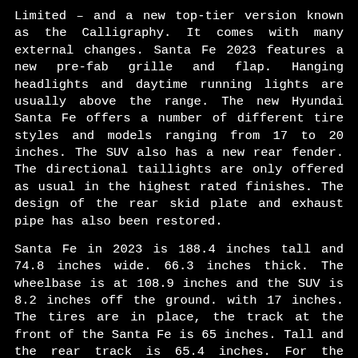Limited – and a new top-tier version known as the Calligraphy. It comes with many external changes. Santa Fe 2023 features a new pre-fab grille and flap. Hanging headlights and daytime running lights are usually above the range. The new Hyundai Santa Fe offers a number of different tire styles and models ranging from 17 to 20 inches. The SUV also has a new rear fender. The directional taillights are only offered as usual in the highest rated finishes. The design of the rear skid plate and exhaust pipe has also been restored.
Santa Fe in 2023 is 188.4 inches tall and 74.8 inches wide. 66.3 inches thick. The wheelbase is at 108.9 inches and the SUV is 8.2 inches off the ground. with 17 inches. The tires are in place, the track at the front of the Santa Fe is 65 inches. Tall and the rear track is 65.4 inches. For the thinness score, the Santa Fe drag coefficient is 0.34.
Inside, the 2023 Hyundai Santa Fe Sport features